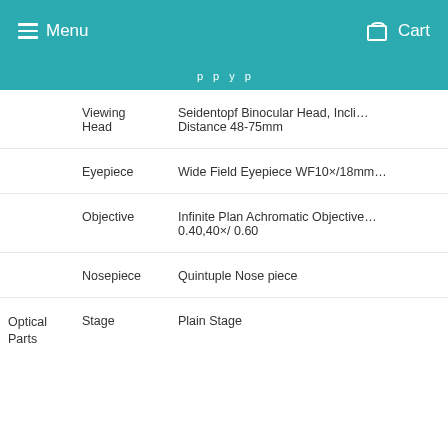Menu   Cart
p p y p
| Category | Feature | Value |
| --- | --- | --- |
|  | Viewing Head | Seidentopf Binocular Head, Incli... Distance 48-75mm |
|  | Eyepiece | Wide Field Eyepiece WF10×/18mm |
|  | Objective | Infinite Plan Achromatic Objective 0.40,40×/ 0.60 |
|  | Nosepiece | Quintuple Nose piece |
| Optical Parts | Stage | Plain Stage |